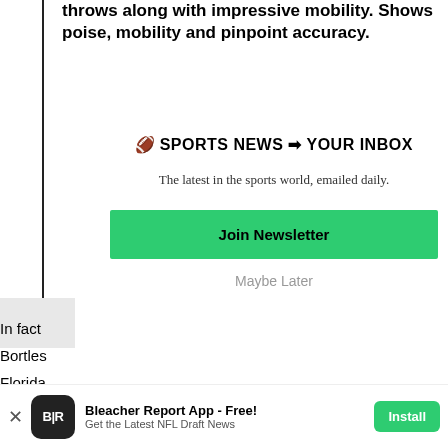throws along with impressive mobility. Shows poise, mobility and pinpoint accuracy.
🏈 SPORTS NEWS ➡ YOUR INBOX
The latest in the sports world, emailed daily.
Join Newsletter
Maybe Later
In fact
Bortles
Florida
about
Bleacher Report App - Free! Get the Latest NFL Draft News